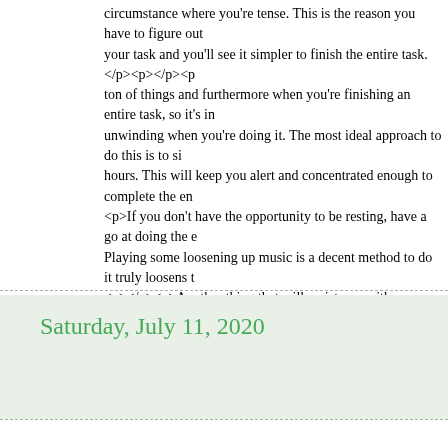circumstance where you're tense. This is the reason you have to figure out your task and you'll see it simpler to finish the entire task.</p><p></p><p> ton of things and furthermore when you're finishing an entire task, so it's in unwinding when you're doing it. The most ideal approach to do this is to si hours. This will keep you alert and concentrated enough to complete the en <p>If you don't have the opportunity to be resting, have a go at doing the e Playing some loosening up music is a decent method to do it truly loosens t <p></p><p>Another thing that will assist you with unwinding while at the is to kee p yourself moving along. It's not in every case great to peruse you you can move around and read it from one side to another.</p><p></p><p> event that you're perusing a task from option to left, at that point you can ba segment and go it to one side so you can keep perusing from that point. Thi still make it simple for you to concentrate on finishing your assignment.</p task along these lines likewise makes it simpler for you to be in a casual pe concentrate better and less tense. Attempt these tips and loosen up when yo the goal that you can complete it easier.</p>
Posted by orahill1996 at 10:55 AM   No comments:
Saturday, July 11, 2020